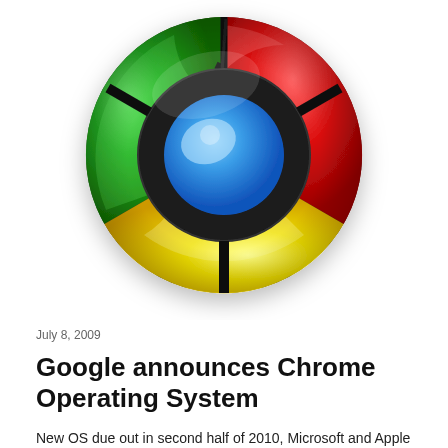[Figure (logo): Google Chrome logo — a circular icon with a red top arc, green left arc, yellow bottom-right arc, black dividing lines, and a blue sphere in the center. The logo has a glossy 3D appearance.]
July 8, 2009
Google announces Chrome Operating System
New OS due out in second half of 2010, Microsoft and Apple given